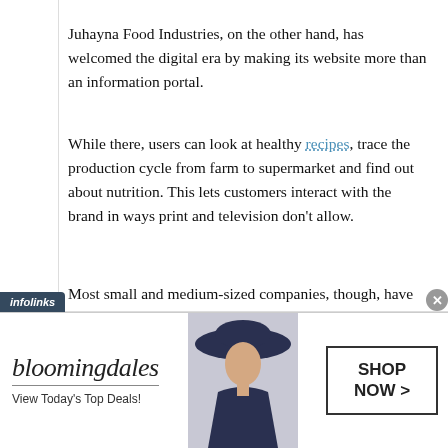Juhayna Food Industries, on the other hand, has welcomed the digital era by making its website more than an information portal.
While there, users can look at healthy recipes, trace the production cycle from farm to supermarket and find out about nutrition. This lets customers interact with the brand in ways print and television don't allow.
Most small and medium-sized companies, though, have no presence online. Ahmed Gamal El-Din, Egypt and Levant sales manager for Connect Ads, an advertising subsidiary of LinkDotNet thinks these firms are waiting for bigger companies to embrace
[Figure (other): Bloomingdale's advertisement banner with model wearing wide-brim hat, logo, tagline 'View Today's Top Deals!' and 'SHOP NOW >' button]